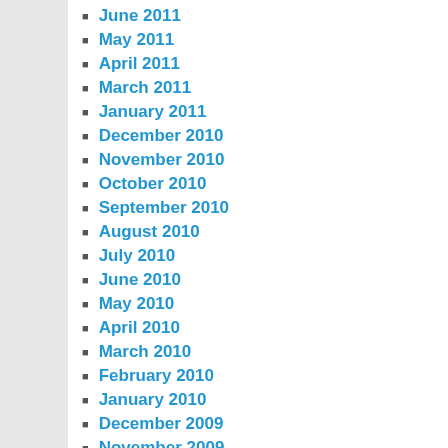June 2011
May 2011
April 2011
March 2011
January 2011
December 2010
November 2010
October 2010
September 2010
August 2010
July 2010
June 2010
May 2010
April 2010
March 2010
February 2010
January 2010
December 2009
November 2009
October 2009
September 2009